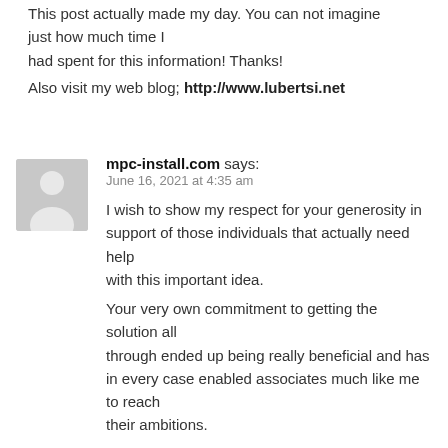This post actually made my day. You can not imagine just how much time I had spent for this information! Thanks!
Also visit my web blog; http://www.lubertsi.net
mpc-install.com says:
June 16, 2021 at 4:35 am
I wish to show my respect for your generosity in support of those individuals that actually need help with this important idea. Your very own commitment to getting the solution all through ended up being really beneficial and has in every case enabled associates much like me to reach their ambitions. Your amazing valuable guidelines indicates a lot to me and somewhat more to my fellow workers. With thanks; from each one of us.